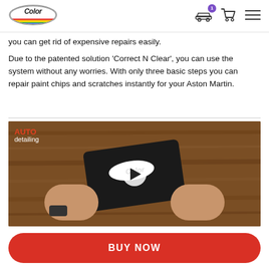[Figure (logo): Color In Drive oval logo with rainbow stripe and car silhouette]
you can get rid of expensive repairs easily.
Due to the patented solution 'Correct N Clear', you can use the system without any worries. With only three basic steps you can repair paint chips and scratches instantly for your Aston Martin.
[Figure (screenshot): Video thumbnail showing hands holding a Color In Drive product box against a wooden background, with AUTO detailing label in top-left and a play button overlay]
BUY NOW